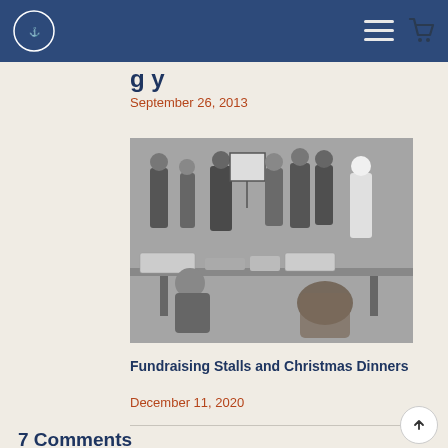Navigation bar with logo and menu/cart icons
September 26, 2013
[Figure (photo): Black and white photograph of people at fundraising stalls, with artwork and tables visible]
Fundraising Stalls and Christmas Dinners
December 11, 2020
7 Comments